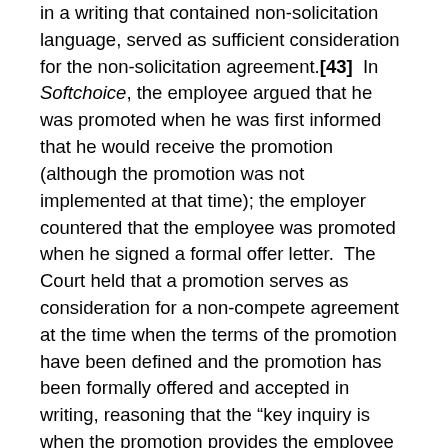in a writing that contained non-solicitation language, served as sufficient consideration for the non-solicitation agreement.[43]  In Softchoice, the employee argued that he was promoted when he was first informed that he would receive the promotion (although the promotion was not implemented at that time); the employer countered that the employee was promoted when he signed a formal offer letter.  The Court held that a promotion serves as consideration for a non-compete agreement at the time when the terms of the promotion have been defined and the promotion has been formally offered and accepted in writing, reasoning that the “key inquiry is when the promotion provides the employee with ‘real advantages.’”  In reviewing that decision, however, it seems that if the employee had actually received the increase in compensation, duties, and